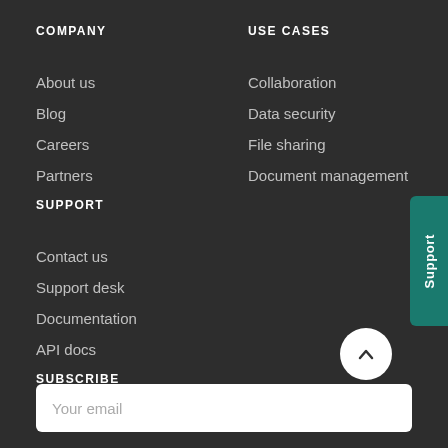COMPANY
About us
Blog
Careers
Partners
USE CASES
Collaboration
Data security
File sharing
Document management
SUPPORT
Contact us
Support desk
Documentation
API docs
SUBSCRIBE
Your email